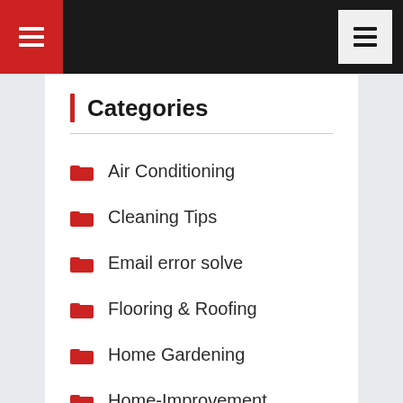Navigation header with hamburger menus
Categories
Air Conditioning
Cleaning Tips
Email error solve
Flooring & Roofing
Home Gardening
Home-Improvement
Pest Control
Tips and Ideas